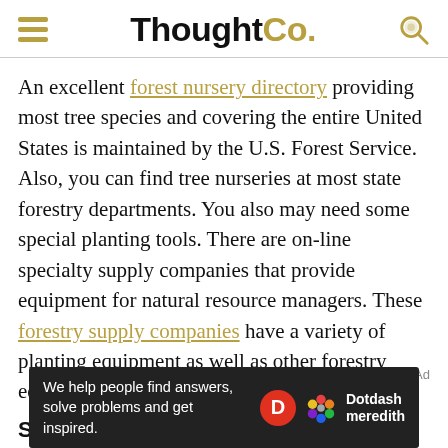ThoughtCo.
An excellent forest nursery directory providing most tree species and covering the entire United States is maintained by the U.S. Forest Service. Also, you can find tree nurseries at most state forestry departments. You also may need some special planting tools. There are on-line specialty supply companies that provide equipment for natural resource managers. These forestry supply companies have a variety of planting equipment as well as other forestry equipment.
So, the Tree is in the Ground...
Things are pretty much out of your hands after the trees are planted. You have to leave things to Mother Nature. My experience has been that even when considering a freeze,
[Figure (other): Dotdash Meredith advertisement banner with text 'We help people find answers, solve problems and get inspired.' with D logo and Dotdash meredith branding]